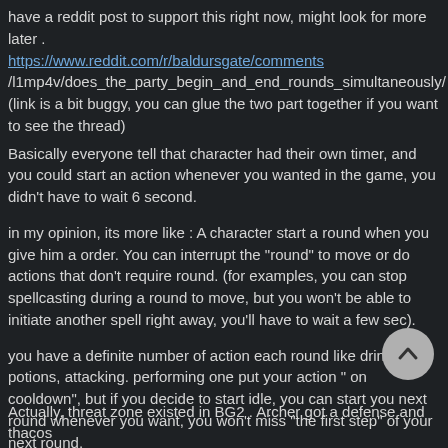have a reddit post to support this right now, might look for more later . https://www.reddit.com/r/baldursgate/comments /l1mp4v/does_the_party_begin_and_end_rounds_simultaneously/ (link is a bit buggy, you can glue the two part together if you want to see the thread)
Basically everyone tell that character had their own timer, and you could start an action whenever you wanted in the game, you didn't have to wait 6 second.
in my opinion, its more like : A character start a round when you give him a order. You can interrupt the "round" to move or do actions that don't require round. (for examples, you can stop spellcasting during a round to move, but you won't be able to initiate another spell right away, you'll have to wait a few sec).
you have a definite number of action each round like drinking potions, attacking. performing one put your action " on cooldown", but if you decide to start idle, you can start you next round whenever you want, you won't miss "the first step" of your next round.
But if the game was indeed working as you described, that would be an issue .
Actually, threat zone existed in BG2 . Archer got a defense and thacos